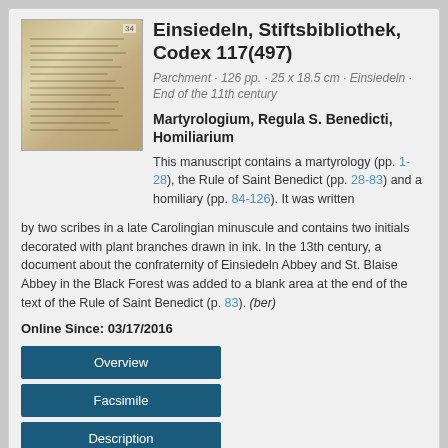Einsiedeln, Stiftsbibliothek, Codex 117(497)
Parchment · 126 pp. · 25 x 18.5 cm · Einsiedeln · End of the 11th century
Martyrologium, Regula S. Benedicti, Homiliarium
This manuscript contains a martyrology (pp. 1-28), the Rule of Saint Benedict (pp. 28-83) and a homiliary (pp. 84-126). It was written by two scribes in a late Carolingian minuscule and contains two initials decorated with plant branches drawn in ink. In the 13th century, a document about the confraternity of Einsiedeln Abbey and St. Blaise Abbey in the Black Forest was added to a blank area at the end of the text of the Rule of Saint Benedict (p. 83). (ber)
Online Since: 03/17/2016
[Figure (photo): Medieval manuscript page showing handwritten text in Latin script on parchment, yellowed with age.]